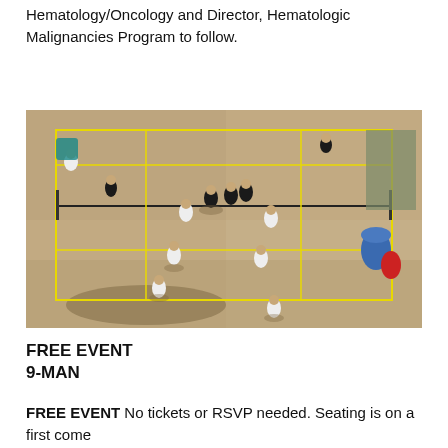Hematology/Oncology and Director, Hematologic Malignancies Program to follow.
[Figure (photo): Aerial/overhead view of a beach volleyball or outdoor court with multiple players and spectators visible from above. Yellow court lines are drawn on sandy/concrete surface. Players wear black and white clothing with long shadows cast by sunlight.]
FREE EVENT
9-MAN
FREE EVENT No tickets or RSVP needed. Seating is on a first come